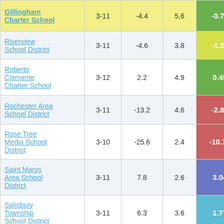| School/District | Grades | Col3 | Col4 | Score |
| --- | --- | --- | --- | --- |
| Gillingham Charter School | 3-11 | -4.4 | 5.6 | -0.77 |
| Riverview School District | 3-11 | -4.6 | 3.8 | -1.20 |
| Roberto Clemente Charter School | 3-12 | 2.2 | 4.9 | 0.45 |
| Rochester Area School District | 3-11 | -13.2 | 4.6 | -2.89 |
| Rose Tree Media School District | 3-10 | -25.6 | 2.4 | -10.76 |
| Saint Marys Area School District | 3-11 | 7.8 | 2.6 | 3.04 |
| Salisbury Township School District | 3-11 | 6.3 | 3.6 | 1.77 |